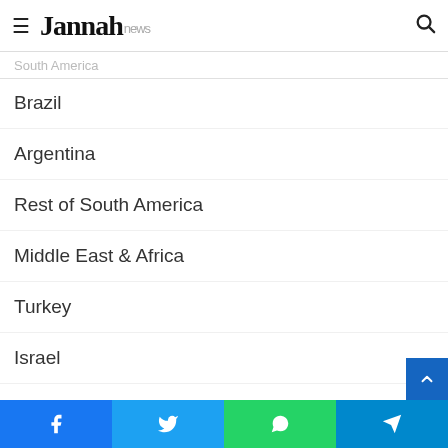Jannah news
South America
Brazil
Argentina
Rest of South America
Middle East & Africa
Turkey
Israel
Saudi Arabia
Facebook | Twitter | WhatsApp | Telegram